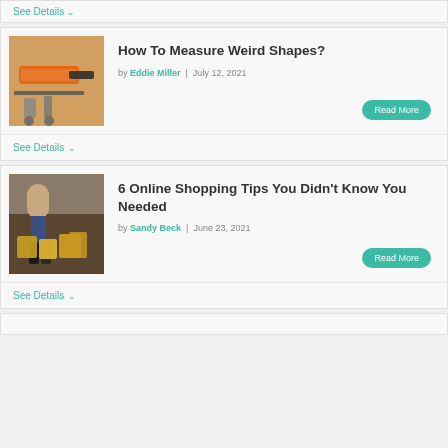See Details ∨
How To Measure Weird Shapes?
by Eddie Miller | July 12, 2021
Read More
See Details ∨
6 Online Shopping Tips You Didn't Know You Needed
by Sandy Beck | June 23, 2021
Read More
See Details ∨